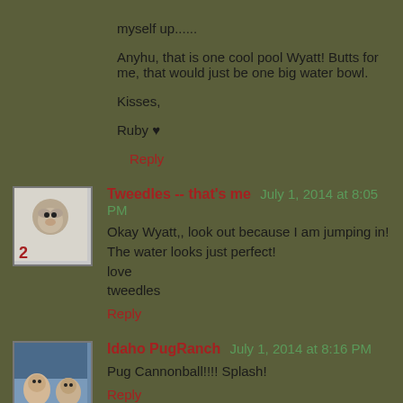myself up......
Anyhu, that is one cool pool Wyatt! Butts for me, that would just be one big water bowl.
Kisses,
Ruby ♥
Reply
Tweedles -- that's me  July 1, 2014 at 8:05 PM
Okay Wyatt,, look out because I am jumping in!
The water looks just perfect!
love
tweedles
Reply
Idaho PugRanch  July 1, 2014 at 8:16 PM
Pug Cannonball!!!! Splash!
Reply